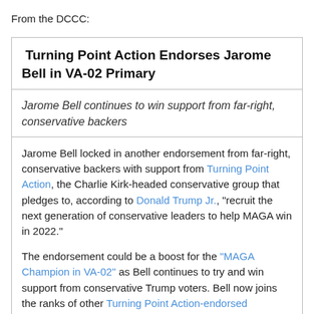From the DCCC:
Turning Point Action Endorses Jarome Bell in VA-02 Primary
Jarome Bell continues to win support from far-right, conservative backers
Jarome Bell locked in another endorsement from far-right, conservative backers with support from Turning Point Action, the Charlie Kirk-headed conservative group that pledges to, according to Donald Trump Jr., “recruit the next generation of conservative leaders to help MAGA win in 2022.”

The endorsement could be a boost for the “MAGA Champion in VA-02” as Bell continues to try and win support from conservative Trump voters. Bell now joins the ranks of other Turning Point Action-endorsed candidates like Sarah Palin, Lauren Boebert, Matt Gaetz, Marjorie Taylor Greene